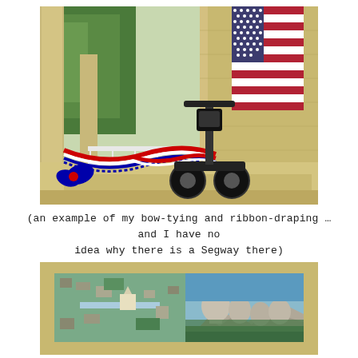[Figure (photo): A Segway parked on stone steps next to an American flag with red, white, and blue ribbon/bunting draped across railings. Stone columns and green trees visible in background.]
(an example of my bow-tying and ribbon-draping …and I have no idea why there is a Segway there)
[Figure (photo): A panoramic photo mural or banner showing aerial view of Washington D.C. on the left and Mount Rushmore on the right, mounted on exterior wall of a building.]